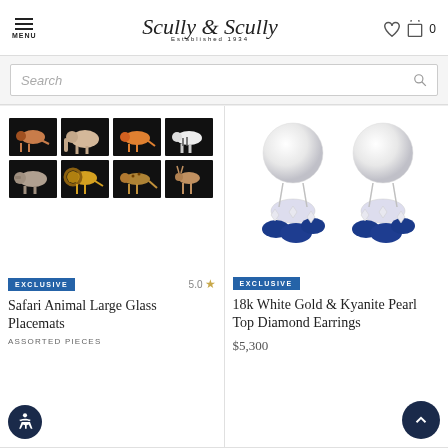Scully & Scully — Established 1934 — MENU — 0
Search
[Figure (photo): Safari Animal Large Glass Placemats product photo showing 8 black tiles each with a different painted animal (lion, elephant, tiger, zebra, rhino, lion, leopard, antelope)]
EXCLUSIVE   5.0 ★
Safari Animal Large Glass Placemats
ASSORTED PIECES
[Figure (photo): 18k White Gold & Kyanite Pearl Top Diamond Earrings product photo showing two earrings with large white pearls on top and blue kyanite stones with diamonds below]
EXCLUSIVE
18k White Gold & Kyanite Pearl Top Diamond Earrings
$5,300